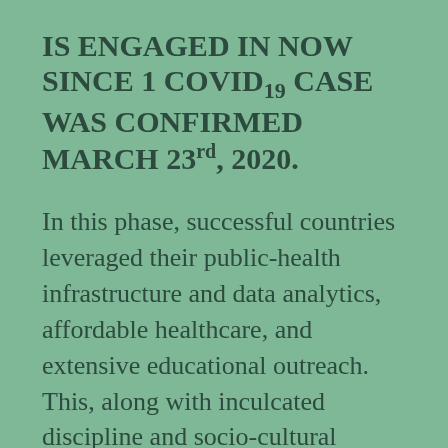IS ENGAGED IN NOW SINCE 1 COVID19 CASE WAS CONFIRMED MARCH 23rd, 2020.
In this phase, successful countries leveraged their public-health infrastructure and data analytics, affordable healthcare, and extensive educational outreach. This, along with inculcated discipline and socio-cultural practices contributed to their success. While Belize health care landscape may not be on par